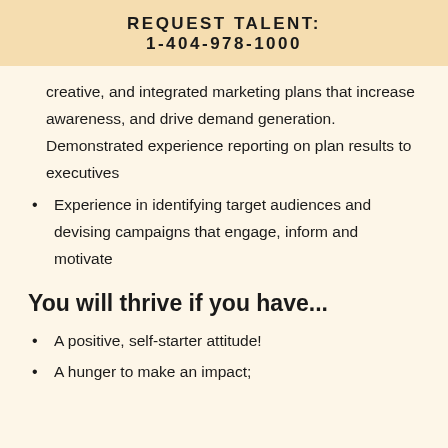REQUEST TALENT:
1-404-978-1000
creative, and integrated marketing plans that increase awareness, and drive demand generation. Demonstrated experience reporting on plan results to executives
Experience in identifying target audiences and devising campaigns that engage, inform and motivate
You will thrive if you have...
A positive, self-starter attitude!
A hunger to make an impact;